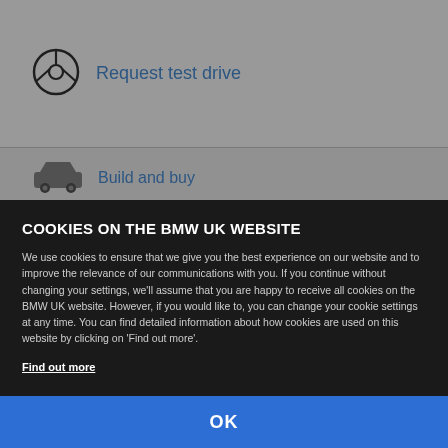[Figure (illustration): Steering wheel icon in a circle]
Request test drive
[Figure (illustration): Car/sedan icon]
Build and buy
[Figure (logo): Blue BMW-style logo box with chevron/arrow icon]
[Figure (logo): Kee Resources dark logo box]
Vehicle data content has been put together with the greatest possible care. KeeResources Ltd. cannot be held liable for the information or prices contained being free of errors or accurate. No guarantees can be provided nor liability accepted. VED, New Registration Fees, CO2 and performance figures may change depending on specification and/or government legislation. Guide prices are specification dependent. Fuel consumption figures are provided for comparability purposes in accordance with the official EU test and are intended to reflect real world fuel consumption for vehicle users. All vehicle data shown is valid until the end of August 2022.
COOKIES ON THE BMW UK WEBSITE
We use cookies to ensure that we give you the best experience on our website and to improve the relevance of our communications with you. If you continue without changing your settings, we'll assume that you are happy to receive all cookies on the BMW UK website. However, if you would like to, you can change your cookie settings at any time. You can find detailed information about how cookies are used on this website by clicking on 'Find out more'.
Find out more
OK